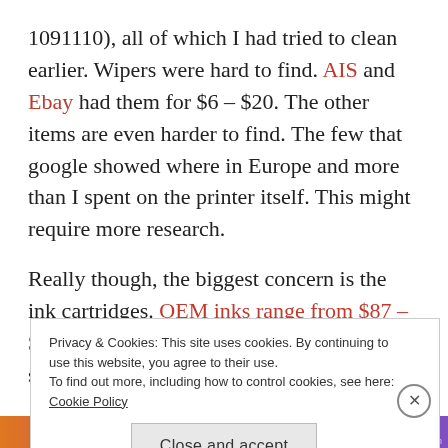1091110), all of which I had tried to clean earlier. Wipers were hard to find. AIS and Ebay had them for $6 – $20. The other items are even harder to find. The few that google showed where in Europe and more than I spent on the printer itself. This might require more research.
Really though, the biggest concern is the ink cartridges. OEM inks range from $87 – $138. That's likely to increase if Epson stops producing them. I bought a
Privacy & Cookies: This site uses cookies. By continuing to use this website, you agree to their use.
To find out more, including how to control cookies, see here: Cookie Policy